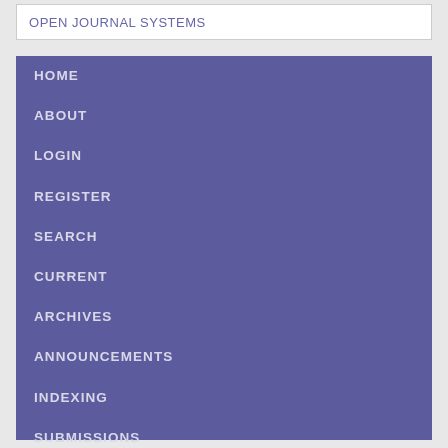OPEN JOURNAL SYSTEMS
HOME
ABOUT
LOGIN
REGISTER
SEARCH
CURRENT
ARCHIVES
ANNOUNCEMENTS
INDEXING
SUBMISSIONS
AUTHOR FEES
CONTACT